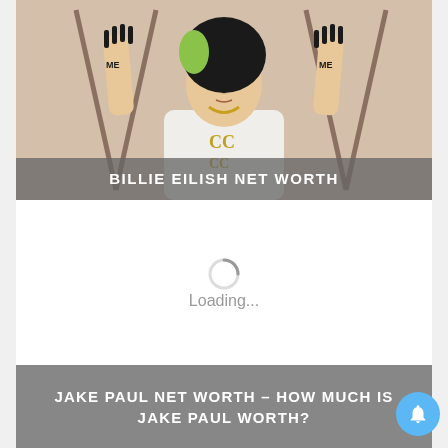[Figure (photo): Photo of Billie Eilish wearing a white Chanel jacket with both hands raised, showing dark nails and tattoos on hands. Hair is dark with green highlights. Background appears to be a beige/tan setting.]
BILLIE EILISH NET WORTH
Loading...
JAKE PAUL NET WORTH – HOW MUCH IS JAKE PAUL WORTH?